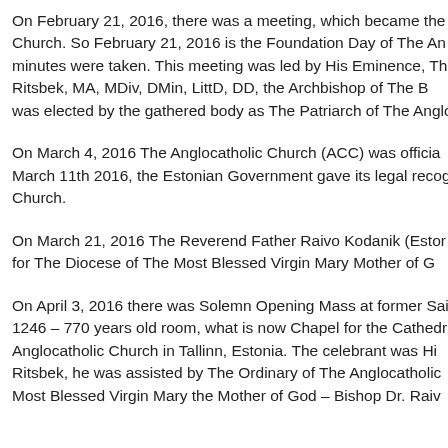On February 21, 2016, there was a meeting, which became the f Church. So February 21, 2016 is the Foundation Day of The An minutes were taken. This meeting was led by His Eminence, Th Ritsbek, MA, MDiv, DMin, LittD, DD, the Archbishop of The B was elected by the gathered body as The Patriarch of The Anglo
On March 4, 2016 The Anglocatholic Church (ACC) was officia March 11th 2016, the Estonian Government gave its legal recog Church.
On March 21, 2016 The Reverend Father Raivo Kodanik (Estor for The Diocese of The Most Blessed Virgin Mary Mother of G
On April 3, 2016 there was Solemn Opening Mass at former Sai 1246 – 770 years old room, what is now Chapel for the Cathedr Anglocatholic Church in Tallinn, Estonia. The celebrant was Hi Ritsbek, he was assisted by The Ordinary of The Anglocatholic Most Blessed Virgin Mary the Mother of God – Bishop Dr. Raiv